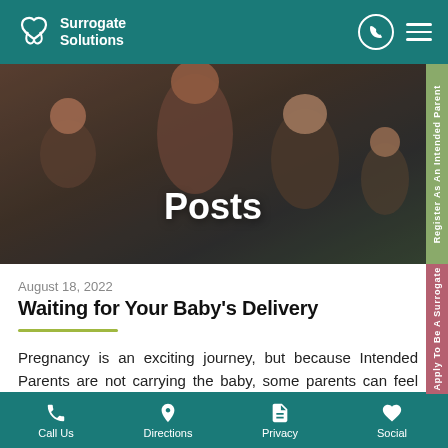Surrogate Solutions
[Figure (photo): Hero image showing a family with two adults and two children, overlaid with the text 'Posts']
August 18, 2022
Waiting for Your Baby's Delivery
Pregnancy is an exciting journey, but because Intended Parents are not carrying the baby, some parents can feel disconnected or impatient. Sharing the exciting news with friends and family, and
Call Us  Directions  Privacy  Social